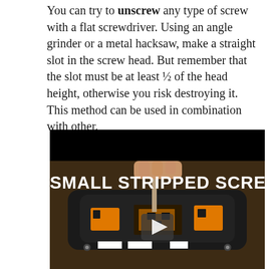You can try to unscrew any type of screw with a flat screwdriver. Using an angle grinder or a metal hacksaw, make a straight slot in the screw head. But remember that the slot must be at least ½ of the head height, otherwise you risk destroying it. This method can be used in combination with other.
[Figure (screenshot): Video thumbnail showing a hand using a screwdriver on a small electronic device/module with circuit board visible. White bold text reads 'SMALL STRIPPED SCREW' overlaid on the image. A play button is centered over the image. The top portion has a black bar.]